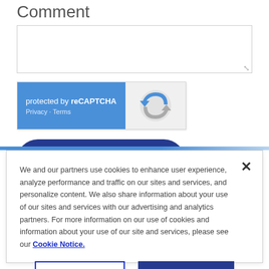Comment
[Figure (screenshot): Comment textarea input field with resize handle]
[Figure (screenshot): reCAPTCHA widget: blue left panel with 'protected by reCAPTCHA' text and Privacy - Terms links; grey right panel with reCAPTCHA logo]
[Figure (screenshot): Dark blue rounded Submit Comment button]
We and our partners use cookies to enhance user experience, analyze performance and traffic on our sites and services, and personalize content. We also share information about your use of our sites and services with our advertising and analytics partners. For more information on our use of cookies and information about your use of our site and services, please see our Cookie Notice.
[Figure (screenshot): Cookie banner buttons: 'Cookies Settings' outlined button and 'Accept All Cookies' filled dark blue button]